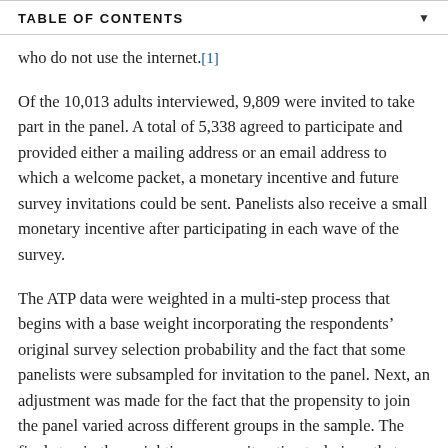TABLE OF CONTENTS
who do not use the internet.[1]
Of the 10,013 adults interviewed, 9,809 were invited to take part in the panel. A total of 5,338 agreed to participate and provided either a mailing address or an email address to which a welcome packet, a monetary incentive and future survey invitations could be sent. Panelists also receive a small monetary incentive after participating in each wave of the survey.
The ATP data were weighted in a multi-step process that begins with a base weight incorporating the respondents’ original survey selection probability and the fact that some panelists were subsampled for invitation to the panel. Next, an adjustment was made for the fact that the propensity to join the panel varied across different groups in the sample. The final step in the weighting uses an iterative technique that matches gender, age,